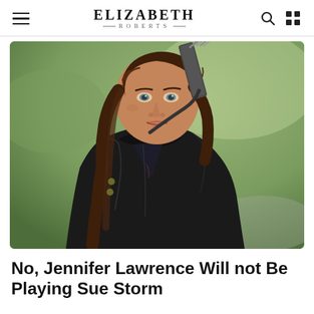ELIZABETH ROBERTS
[Figure (photo): A young woman with long dark brown hair wearing a black leather jacket, carrying arrows on her back (quiver), looking alert and slightly crouched, in an outdoor setting with blurred green background — appears to be from The Hunger Games film.]
No, Jennifer Lawrence Will not Be Playing Sue Storm